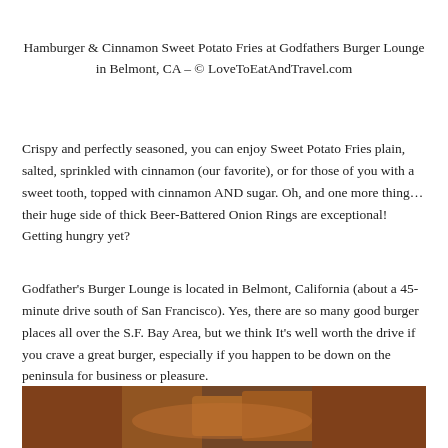Hamburger & Cinnamon Sweet Potato Fries at Godfathers Burger Lounge in Belmont, CA – © LoveToEatAndTravel.com
Crispy and perfectly seasoned, you can enjoy Sweet Potato Fries plain, salted, sprinkled with cinnamon (our favorite), or for those of you with a sweet tooth, topped with cinnamon AND sugar. Oh, and one more thing… their huge side of thick Beer-Battered Onion Rings are exceptional! Getting hungry yet?
Godfather's Burger Lounge is located in Belmont, California (about a 45-minute drive south of San Francisco). Yes, there are so many good burger places all over the S.F. Bay Area, but we think It's well worth the drive if you crave a great burger, especially if you happen to be down on the peninsula for business or pleasure.
[Figure (photo): Close-up photo of food items, appears to be burgers or similar food with warm brown/orange tones, partially visible at bottom of page.]